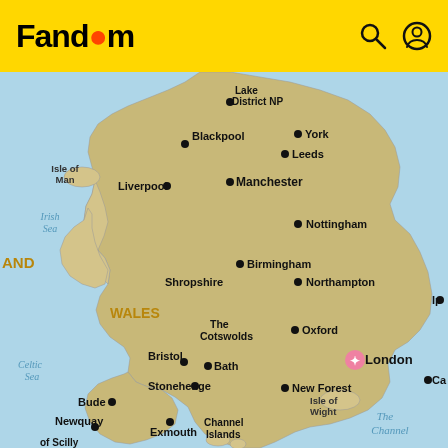Fandom
[Figure (map): Map of England and Wales showing major cities and landmarks including London, Manchester, Birmingham, Bristol, Oxford, York, Leeds, Liverpool, Blackpool, Nottingham, Northampton, Shropshire, The Cotswolds, Bath, Stonehenge, New Forest, Bude, Newquay, Exmouth, Channel Islands, with Isle of Man, Isle of Wight, Celtic Sea, Irish Sea, The Channel labeled. Wales labeled in gold/khaki. London marked with a pink/red star.]